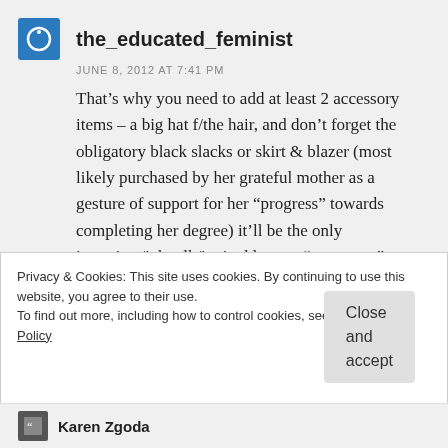the_educated_feminist
JUNE 8, 2012 AT 7:41 PM
That’s why you need to add at least 2 accessory items – a big hat f/the hair, and don’t forget the obligatory black slacks or skirt & blazer (most likely purchased by her grateful mother as a gesture of support for her “progress” towards completing her degree) it’ll be the only interview/job talk/invited lecture “grown-up” outfit she will own until she gets tenure.
Privacy & Cookies: This site uses cookies. By continuing to use this website, you agree to their use.
To find out more, including how to control cookies, see here: Cookie Policy
Close and accept
Karen Zgoda